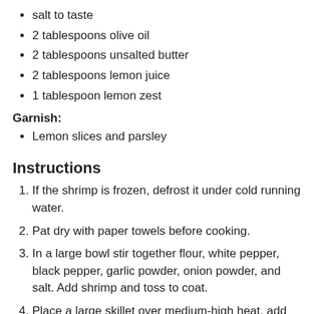salt to taste
2 tablespoons olive oil
2 tablespoons unsalted butter
2 tablespoons lemon juice
1 tablespoon lemon zest
Garnish:
Lemon slices and parsley
Instructions
If the shrimp is frozen, defrost it under cold running water.
Pat dry with paper towels before cooking.
In a large bowl stir together flour, white pepper, black pepper, garlic powder, onion powder, and salt. Add shrimp and toss to coat.
Place a large skillet over medium-high heat, add butter and oil and when sizzling, add shrimp and cook until crisp and browned, about 2 minutes per side. If needed cook in batches, do NOT overcrowd the pan.
Add lemon zest and lemon juice over to the shrimp, stir for 1 minute and remove from heat.